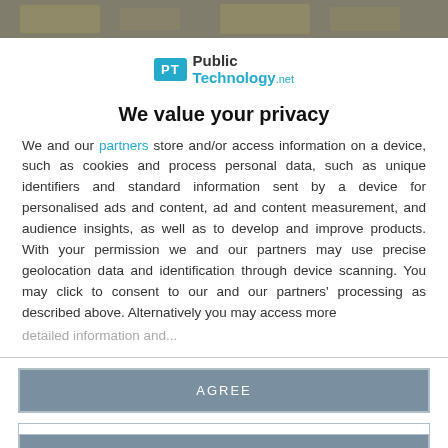[Figure (photo): Top banner showing blurred background image of money/currency]
[Figure (logo): PublicTechnology.net logo with teal PT icon and text]
We value your privacy
We and our partners store and/or access information on a device, such as cookies and process personal data, such as unique identifiers and standard information sent by a device for personalised ads and content, ad and content measurement, and audience insights, as well as to develop and improve products. With your permission we and our partners may use precise geolocation data and identification through device scanning. You may click to consent to our and our partners' processing as described above. Alternatively you may access more detailed information and...
AGREE
MORE OPTIONS
[Figure (photo): Bottom banner showing blurred background image]